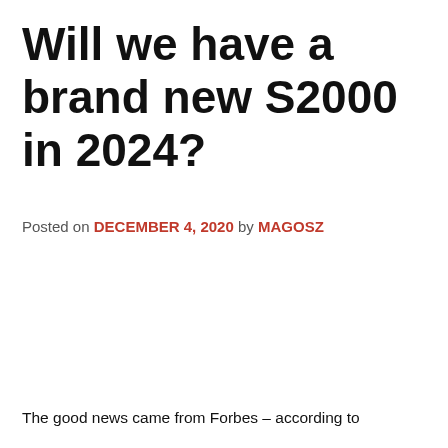Will we have a brand new S2000 in 2024?
Posted on DECEMBER 4, 2020  by MAGOSZ
The good news came from Forbes – according to